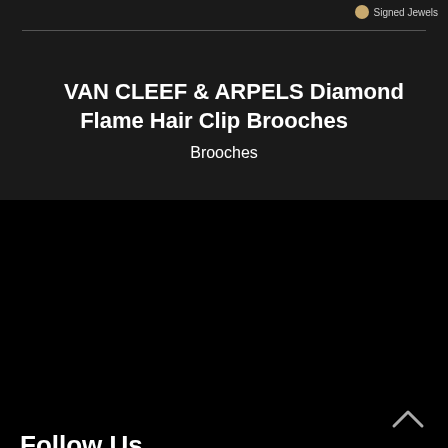[Figure (screenshot): Top bar with Signed Jewels logo/text at top right, partially visible]
VAN CLEEF & ARPELS Diamond Flame Hair Clip Brooches
Brooches
Follow Us
[Figure (infographic): Social media icons: Facebook (blue circle), Instagram (tan/brown circle), Pinterest (red circle), YouTube (red circle), LinkedIn (blue circle)]
ABOUT YAFA